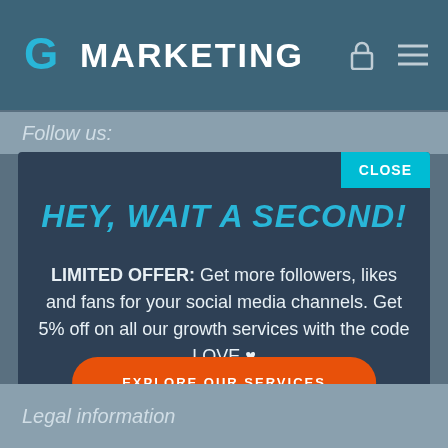G MARKETING
Follow us:
HEY, WAIT A SECOND!
LIMITED OFFER: Get more followers, likes and fans for your social media channels. Get 5% off on all our growth services with the code LOVE ♥
EXPLORE OUR SERVICES
Legal information